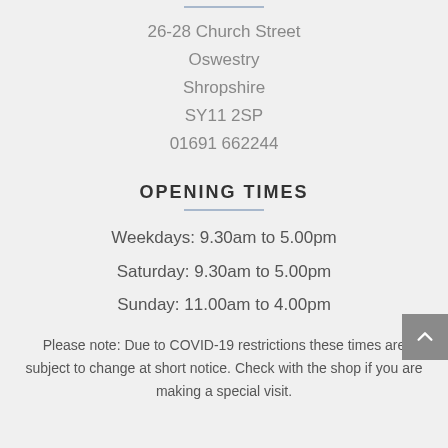26-28 Church Street
Oswestry
Shropshire
SY11 2SP
01691 662244
OPENING TIMES
Weekdays: 9.30am to 5.00pm
Saturday: 9.30am to 5.00pm
Sunday: 11.00am to 4.00pm
Please note: Due to COVID-19 restrictions these times are subject to change at short notice. Check with the shop if you are making a special visit.